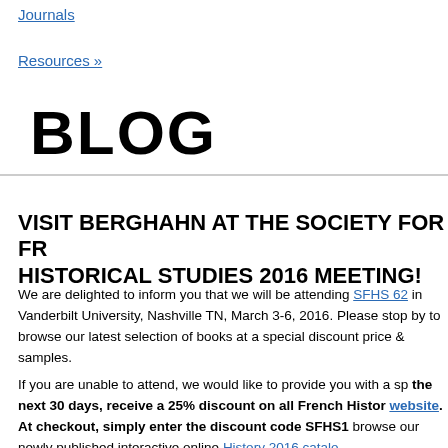Journals
Resources »
BLOG
VISIT BERGHAHN AT THE SOCIETY FOR FRENCH HISTORICAL STUDIES 2016 MEETING!
We are delighted to inform you that we will be attending SFHS 62 in Vanderbilt University, Nashville TN, March 3-6, 2016. Please stop by to browse our latest selection of books at a special discount price & samples.
If you are unable to attend, we would like to provide you with a special offer: for the next 30 days, receive a 25% discount on all French History titles on our website. At checkout, simply enter the discount code SFHS16 and browse our newly published interactive online History 2016 catalog